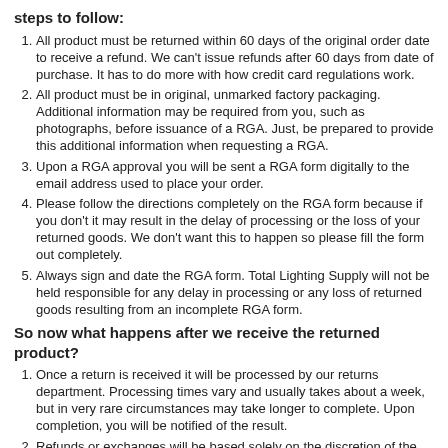steps to follow:
All product must be returned within 60 days of the original order date to receive a refund. We can't issue refunds after 60 days from date of purchase. It has to do more with how credit card regulations work.
All product must be in original, unmarked factory packaging. Additional information may be required from you, such as photographs, before issuance of a RGA. Just, be prepared to provide this additional information when requesting a RGA.
Upon a RGA approval you will be sent a RGA form digitally to the email address used to place your order.
Please follow the directions completely on the RGA form because if you don't it may result in the delay of processing or the loss of your returned goods. We don't want this to happen so please fill the form out completely.
Always sign and date the RGA form. Total Lighting Supply will not be held responsible for any delay in processing or any loss of returned goods resulting from an incomplete RGA form.
So now what happens after we receive the returned product?
Once a return is received it will be processed by our returns department. Processing times vary and usually takes about a week, but in very rare circumstances may take longer to complete. Upon completion, you will be notified of the result.
Refunds or exchanges will be based solely on the discretion of the returns department. Refunds will be issued to the original form of payment.
If you have any questions please don't hesitate to contact us as we are here to help :)